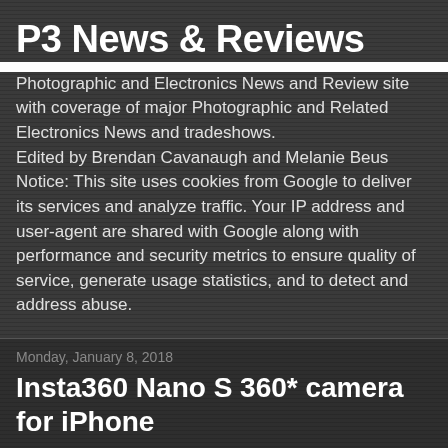P3 News & Reviews
Photographic and Electronics News and Review site with coverage of major Photographic and Related Electronics News and tradeshows.
Edited by Brendan Cavanaugh and Melanie Beus
Notice: This site uses cookies from Google to deliver its services and analyze traffic. Your IP address and user-agent are shared with Google along with performance and security metrics to ensure quality of service, generate usage statistics, and to detect and address abuse.
Monday, January 8, 2018
Insta360 Nano S 360* camera for iPhone
[Figure (photo): Photo of Insta360 Nano S camera device with caption 'Insta360 Nano S']